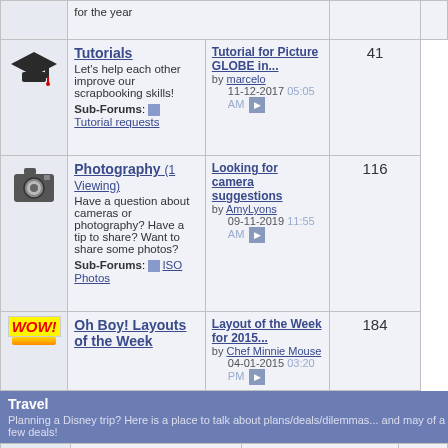| Icon | Forum | Last Post | Count |
| --- | --- | --- | --- |
| [top text] | for the year |  |  |
| [graduation icon] | Tutorials
Let's help each other improve our scrapbooking skills!
Sub-Forums: Tutorial requests | Tutorial for Picture GLOBE in...
by marcelo
11-12-2017 05:05 AM | 41 |
| [camera icon] | Photography (1 Viewing)
Have a question about cameras or photography? Have a tip to share? Want to share some photos?
Sub-Forums: ISO Photos | Looking for camera suggestions
by AmyLyons
09-11-2019 11:55 AM | 116 |
| [wow icon] | Oh Boy! Layouts of the Week | Layout of the Week for 2015...
by Chef Minnie Mouse
04-01-2015 03:20 PM | 184 |
Travel
Planning a Disney trip? Here is a place to talk about plans/deals/dilemmas... and may of a few deals!
| Icon | Forum | Last Post | Count |
| --- | --- | --- | --- |
| [hotel icon] | Discounts and promotions
Need some money saving tips (or have any?) | Boo-yah! Free dining is back!
by renatasluis
04-27-2015 11:05 AM | 73 |
|  | Travel News
[truncated] |  |  |